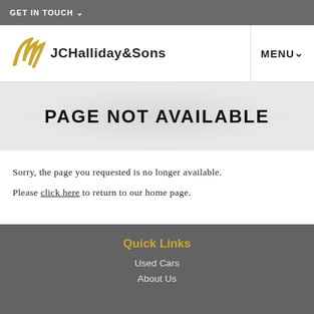GET IN TOUCH
[Figure (logo): JCHalliday&Sons logo with golden stylized wing/swoosh mark and company name text]
PAGE NOT AVAILABLE
Sorry, the page you requested is no longer available.
Please click here to return to our home page.
Quick Links
Used Cars
About Us